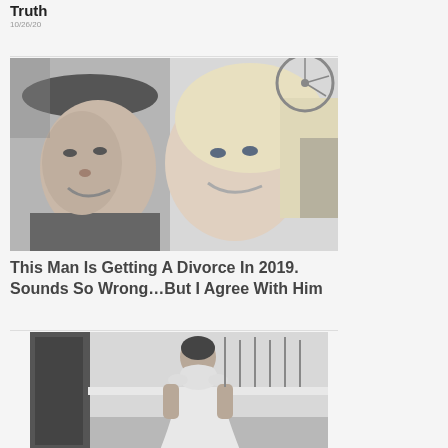Truth
[Figure (photo): Black and white selfie photo of a young man wearing a hat and a young blonde woman smiling together outdoors with a bicycle wheel visible in background]
This Man Is Getting A Divorce In 2019. Sounds So Wrong…But I Agree With Him
[Figure (photo): Black and white photo of a woman wearing a white wedding dress standing indoors near a doorway]